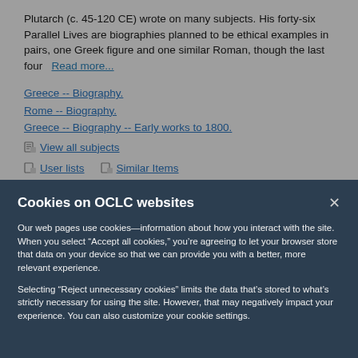Plutarch (c. 45-120 CE) wrote on many subjects. His forty-six Parallel Lives are biographies planned to be ethical examples in pairs, one Greek figure and one similar Roman, though the last four   Read more...
Greece -- Biography.
Rome -- Biography.
Greece -- Biography -- Early works to 1800.
View all subjects
User lists    Similar Items
Cookies on OCLC websites
Our web pages use cookies—information about how you interact with the site. When you select “Accept all cookies,” you’re agreeing to let your browser store that data on your device so that we can provide you with a better, more relevant experience.
Selecting “Reject unnecessary cookies” limits the data that’s stored to what’s strictly necessary for using the site. However, that may negatively impact your experience. You can also customize your cookie settings.